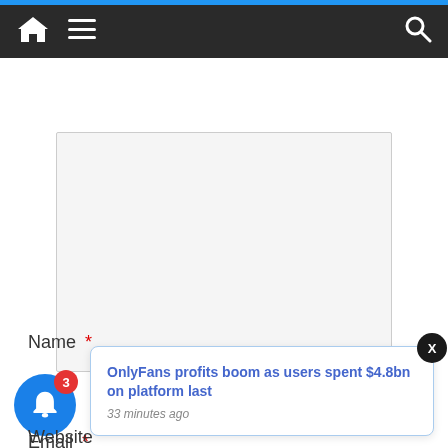[Figure (screenshot): Dark navigation bar with home icon, hamburger menu icon, and search icon on a dark background]
[Figure (screenshot): Gray textarea/comment input box]
Name *
[Figure (screenshot): Gray text input box for Name field]
Email *
[Figure (screenshot): Blue notification bell button with red badge showing count 3, and a white popup notification card reading: OnlyFans profits boom as users spent $4.8bn on platform last — 33 minutes ago, with an X close button]
Website